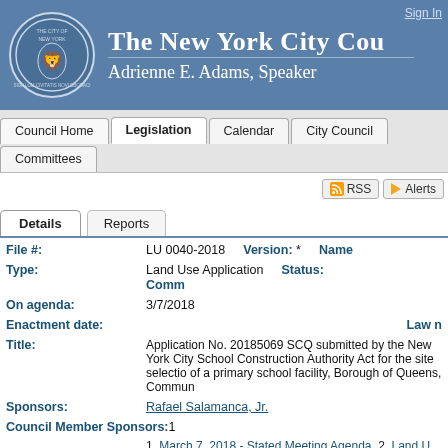The New York City Council — Adrienne E. Adams, Speaker
Sign In
Council Home | Legislation | Calendar | City Council | Committees
RSS  Alerts
Details  Reports
File #: LU 0040-2018  Version: *  Name
Type: Land Use Application  Status: Comm
On agenda: 3/7/2018
Enactment date:  Law n
Title: Application No. 20185069 SCQ submitted by the New York City School Construction Authority Act for the site selection of a primary school facility, Borough of Queens, Commun
Sponsors: Rafael Salamanca, Jr.
Council Member Sponsors: 1
1. March 7, 2018 - Stated Meeting Agenda  2. Land U